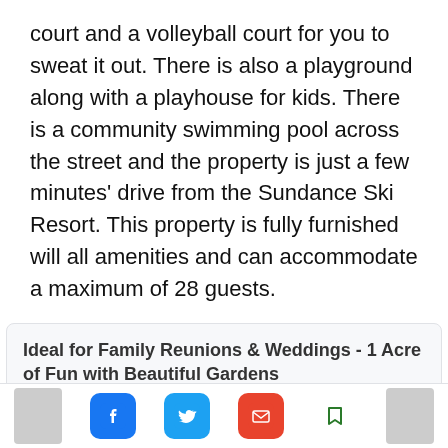court and a volleyball court for you to sweat it out. There is also a playground along with a playhouse for kids. There is a community swimming pool across the street and the property is just a few minutes' drive from the Sundance Ski Resort. This property is fully furnished will all amenities and can accommodate a maximum of 28 guests.
Ideal for Family Reunions & Weddings - 1 Acre of Fun with Beautiful Gardens
18 reviews
ESTATE   28 GUESTS   7...   OOMS
Explore Orem
Top guest reviews
Amenities & Room:
[Figure (infographic): Bottom navigation bar with Facebook, Twitter, email, and bookmark icons, plus a thumbnail image on each side.]